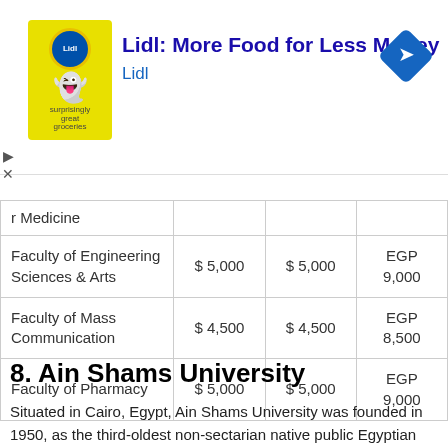[Figure (other): Advertisement banner: Lidl: More Food for Less Money. Lidl logo and navigation icon shown.]
| Faculty |  |  |  |
| --- | --- | --- | --- |
| r Medicine |  |  |  |
| Faculty of Engineering Sciences & Arts | $ 5,000 | $ 5,000 | EGP 9,000 |
| Faculty of Mass Communication | $ 4,500 | $ 4,500 | EGP 8,500 |
| Faculty of Pharmacy | $ 5,000 | $ 5,000 | EGP 9,000 |
8. Ain Shams University
Situated in Cairo, Egypt, Ain Shams University was founded in 1950, as the third-oldest non-sectarian native public Egyptian university and it previously had a number of faculties and academic institutes,